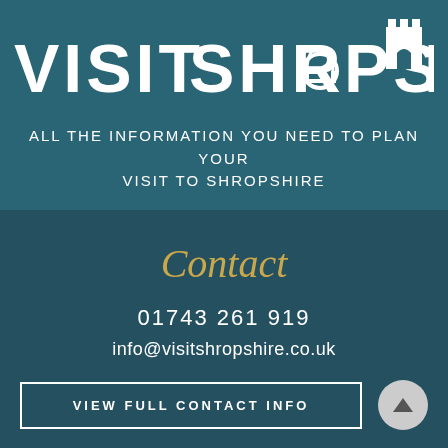[Figure (logo): Visit Shropshire logo with castle tower icon replacing letter A in SHROPSHIRE, white text on teal background]
ALL THE INFORMATION YOU NEED TO PLAN YOUR VISIT TO SHROPSHIRE
Contact
01743 261 919
info@visitshropshire.co.uk
VIEW FULL CONTACT INFO